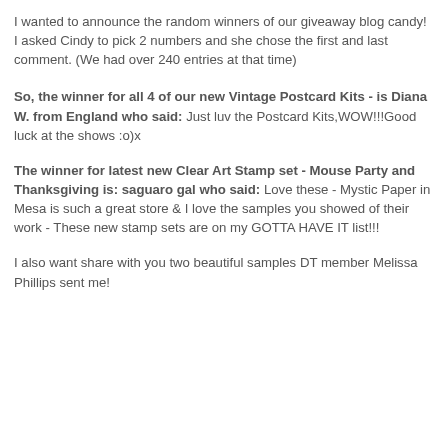I wanted to announce the random winners of our giveaway blog candy! I asked Cindy to pick 2 numbers and she chose the first and last comment. (We had over 240 entries at that time)
So, the winner for all 4 of our new Vintage Postcard Kits - is Diana W. from England who said: Just luv the Postcard Kits,WOW!!!Good luck at the shows :o)x
The winner for latest new Clear Art Stamp set - Mouse Party and Thanksgiving is: saguaro gal who said: Love these - Mystic Paper in Mesa is such a great store & I love the samples you showed of their work - These new stamp sets are on my GOTTA HAVE IT list!!!
I also want share with you two beautiful samples DT member Melissa Phillips sent me!